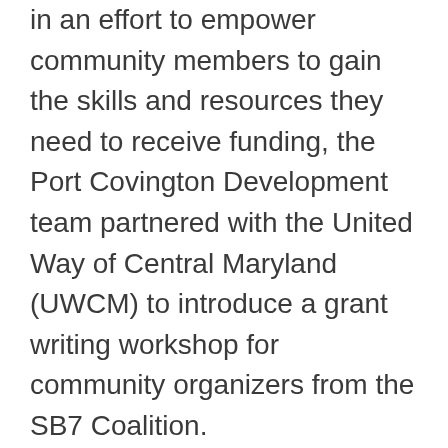in an effort to empower community members to gain the skills and resources they need to receive funding, the Port Covington Development team partnered with the United Way of Central Maryland (UWCM) to introduce a grant writing workshop for community organizers from the SB7 Coalition.
For more than 90 years, UWCM has been helping to improve the lives of those in the communities they serve, and now their primary focus is to "provide the building blocks of a self-